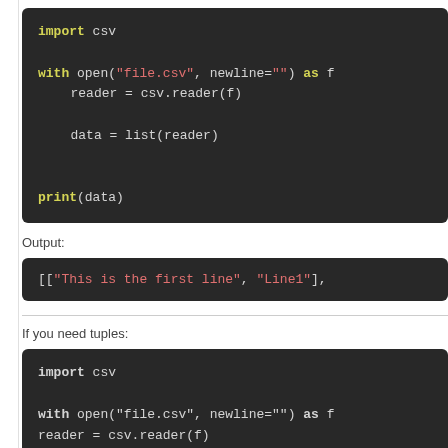[Figure (screenshot): Dark-themed code block showing Python CSV reader code: import csv, with open("file.csv", newline="") as f: reader = csv.reader(f), data = list(reader), print(data)]
Output:
[Figure (screenshot): Dark-themed output block showing: [["This is the first line", "Line1"],]
If you need tuples:
[Figure (screenshot): Dark-themed code block showing Python CSV reader with tuple conversion: import csv, with open("file.csv", newline="") as f: reader = csv.reader(f), data = [tuple(row) for row in rea]